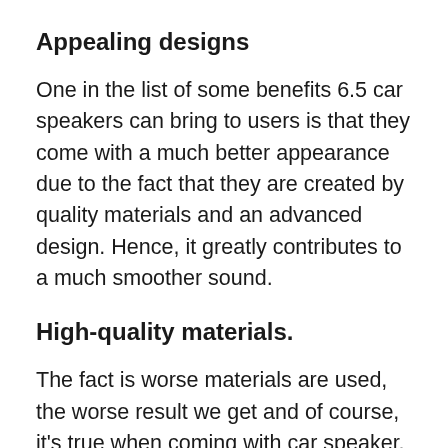Appealing designs
One in the list of some benefits 6.5 car speakers can bring to users is that they come with a much better appearance due to the fact that they are created by quality materials and an advanced design. Hence, it greatly contributes to a much smoother sound.
High-quality materials.
The fact is worse materials are used, the worse result we get and of course, it's true when coming with car speaker. 6.5-inch car speakers are equipped with better materials, hence more durable and well-performed